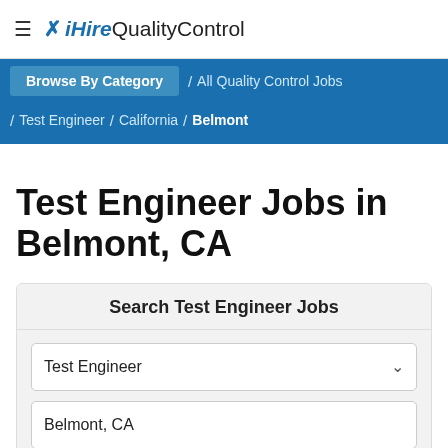≡ ✕ iHire QualityControl
Browse By Category / All Quality Control Jobs / Test Engineer / California / Belmont
Test Engineer Jobs in Belmont, CA
Search Test Engineer Jobs
Test Engineer
Belmont, CA
Search